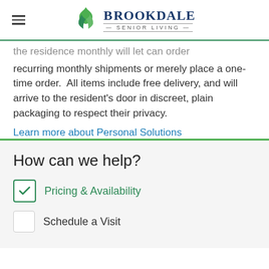Brookdale Senior Living
the residence monthly will let can order recurring monthly shipments or merely place a one-time order. All items include free delivery, and will arrive to the resident's door in discreet, plain packaging to respect their privacy.
Learn more about Personal Solutions
How can we help?
Pricing & Availability
Schedule a Visit